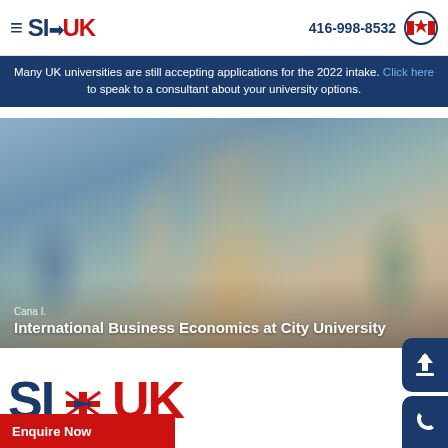SI-UK — 416-998-8532
Many UK universities are still accepting applications for the 2022 intake. Click here to speak to a consultant about your university options.
[Figure (photo): Hero image showing a young woman with long blonde hair wearing a white top, blurred background of other students]
Cana I. International Business Economics at City University
[Figure (logo): SI-UK large logo footer area with scroll-to-top button and phone button]
Enquire Now